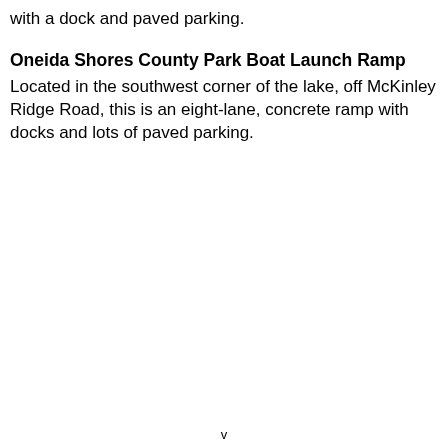with a dock and paved parking.
Oneida Shores County Park Boat Launch Ramp
Located in the southwest corner of the lake, off McKinley Ridge Road, this is an eight-lane, concrete ramp with docks and lots of paved parking.
v